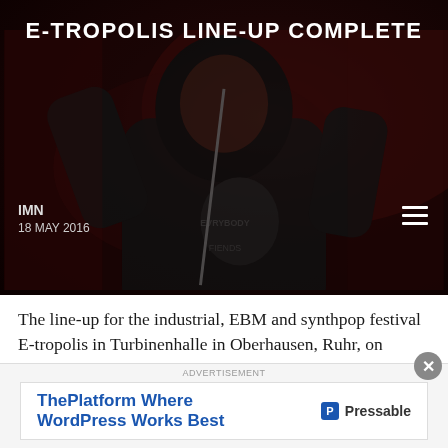E-TROPOLIS LINE-UP COMPLETE
[Figure (photo): Dark concert photo of a performer in a black hoodie holding a microphone, with the blog header overlay showing IMN and date 18 MAY 2016]
The line-up for the industrial, EBM and synthpop festival E-tropolis in Turbinenhalle in Oberhausen, Ruhr, on March 28 is complete. For the most part, though, people just happening to pass by the two-block campus during Public Practice sessions are at the best advantage to enjoy the notes in the air, mixing with the environment. "We [...]
[Figure (screenshot): Advertisement banner: ThePlatform Where WordPress Works Best — Pressable]